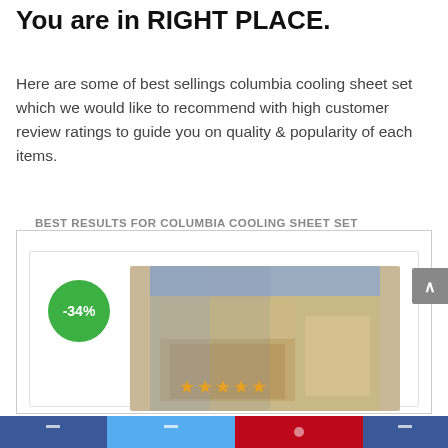You are in RIGHT PLACE.
Here are some of best sellings columbia cooling sheet set which we would like to recommend with high customer review ratings to guide you on quality & popularity of each items.
BEST RESULTS FOR COLUMBIA COOLING SHEET SET
[Figure (photo): Product listing card showing a tan/fossil colored bed sheet set photo with a -34% discount badge in green. Product title: Columbia Moisture Wicking Temperature Regulating Sheet Set, 3-Piece (Twin, Fossil) with star rating icons below.]
Social share bar with Facebook, Twitter, Pinterest, and other share buttons